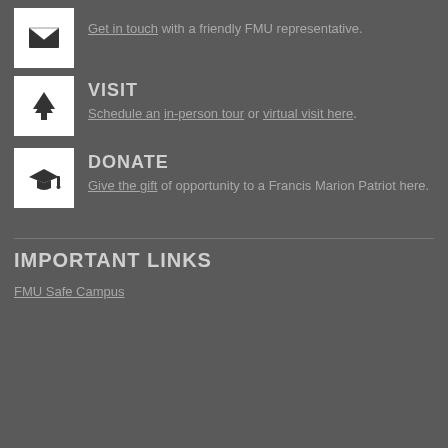[Figure (illustration): Envelope icon in white box]
Get in touch with a friendly FMU representative.
[Figure (illustration): Tree/evergreen icon in white box]
VISIT
Schedule an in-person tour or virtual visit here.
[Figure (illustration): Graduation cap icon in white box]
DONATE
Give the gift of opportunity to a Francis Marion Patriot here.
IMPORTANT LINKS
FMU Safe Campus